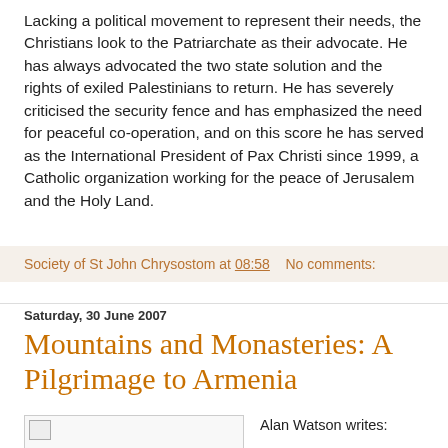Lacking a political movement to represent their needs, the Christians look to the Patriarchate as their advocate. He has always advocated the two state solution and the rights of exiled Palestinians to return. He has severely criticised the security fence and has emphasized the need for peaceful co-operation, and on this score he has served as the International President of Pax Christi since 1999, a Catholic organization working for the peace of Jerusalem and the Holy Land.
Society of St John Chrysostom at 08:58    No comments:
Saturday, 30 June 2007
Mountains and Monasteries: A Pilgrimage to Armenia
[Figure (photo): Small image placeholder in top-left of content area]
Alan Watson writes:

In September 2006, I